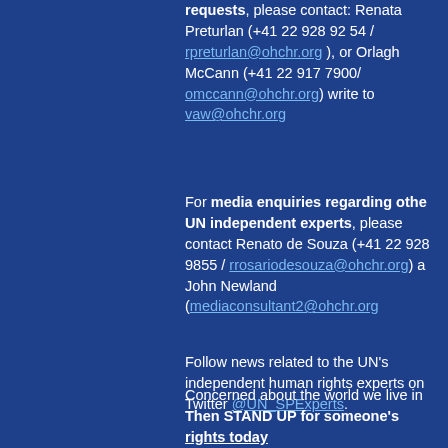For further information and media requests, please contact: Renata Preturlan (+41 22 928 92 54 / rpreturlan@ohchr.org ), or Orlagh McCann (+41 22 917 7900/ omccann@ohchr.org) write to vaw@ohchr.org
For media enquiries regarding other UN independent experts, please contact Renato de Souza (+41 22 928 9855 / rrosariodesouza@ohchr.org) and John Newland (mediaconsultant2@ohchr.org
Follow news related to the UN's independent human rights experts on Twitter @UN_SPExperts.
Concerned about the world we live in? Then STAND UP for someone's rights today